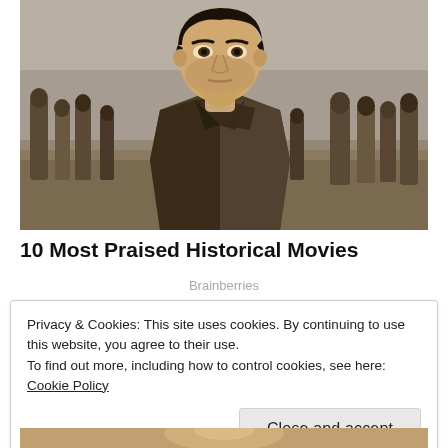[Figure (photo): A young soldier looking up with a serious expression, surrounded by other soldiers in the background on a beach or open area. Scene from a historical war movie (Dunkirk).]
10 Most Praised Historical Movies
Brainberries
Privacy & Cookies: This site uses cookies. By continuing to use this website, you agree to their use.
To find out more, including how to control cookies, see here: Cookie Policy
Close and accept
[Figure (photo): Partial view of another movie still at the bottom of the page.]